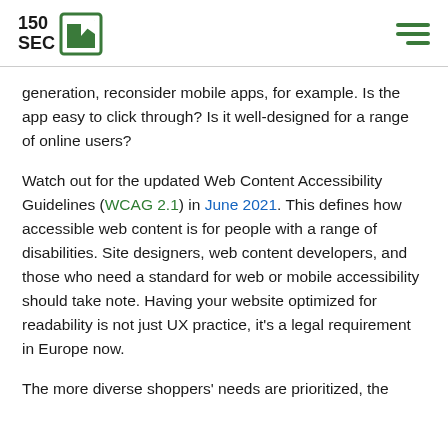150 SEC [logo]
generation, reconsider mobile apps, for example. Is the app easy to click through? Is it well-designed for a range of online users?
Watch out for the updated Web Content Accessibility Guidelines (WCAG 2.1) in June 2021. This defines how accessible web content is for people with a range of disabilities. Site designers, web content developers, and those who need a standard for web or mobile accessibility should take note. Having your website optimized for readability is not just UX practice, it's a legal requirement in Europe now.
The more diverse shoppers' needs are prioritized, the